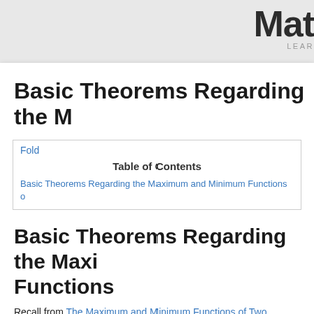Mat LEAR
Basic Theorems Regarding the M
Fold
Table of Contents
Basic Theorems Regarding the Maximum and Minimum Functions o
Basic Theorems Regarding the Maximum and Minimum Functions
Recall from The Maximum and Minimum Functions of Two Functions page and denoted is defined for all by:
Similarly, the minimum function of and denoted is defined for all by: